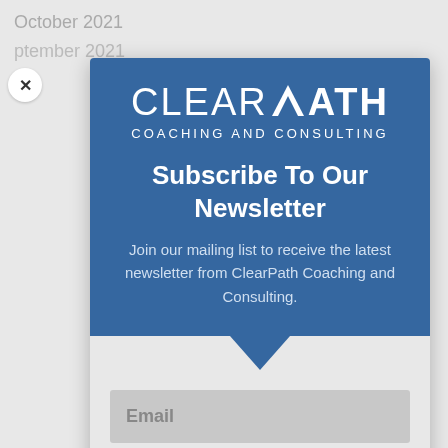October 2021
ptember 2021
[Figure (logo): ClearPath Coaching and Consulting logo — white text on blue background with a triangle/arrow accent between CLEAR and PATH]
Subscribe To Our Newsletter
Join our mailing list to receive the latest newsletter from ClearPath Coaching and Consulting.
Email
Join Newsletter